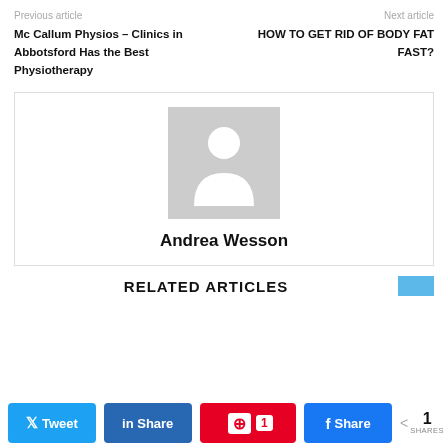Previous article
Next article
Mc Callum Physios – Clinics in Abbotsford Has the Best Physiotherapy
HOW TO GET RID OF BODY FAT FAST?
[Figure (illustration): Author avatar placeholder — grey box with white silhouette person icon]
Andrea Wesson
RELATED ARTICLES
N Tweet  in Share  1  f Share  < 1 SHARES